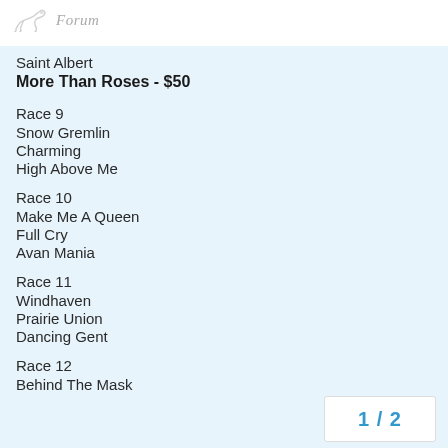Forum
Saint Albert
More Than Roses - $50
Race 9
Snow Gremlin
Charming
High Above Me
Race 10
Make Me A Queen
Full Cry
Avan Mania
Race 11
Windhaven
Prairie Union
Dancing Gent
Race 12
Behind The Mask
1 / 2